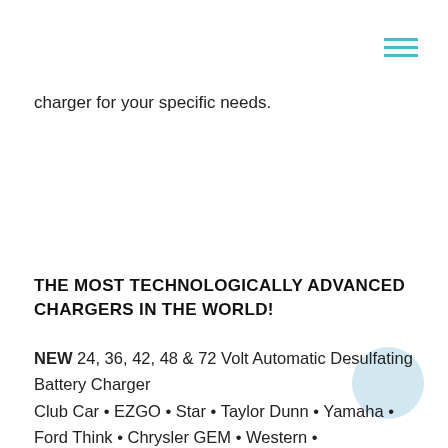charger for your specific needs.
THE MOST TECHNOLOGICALLY ADVANCED CHARGERS IN THE WORLD!
NEW 24, 36, 42, 48 & 72 Volt Automatic Desulfating Battery Charger
Club Car • EZGO • Star • Taylor Dunn • Yamaha • Ford Think • Chrysler GEM • Western •